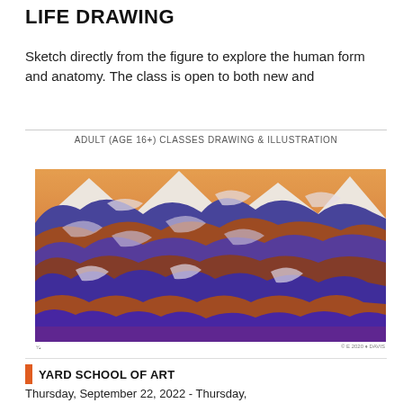LIFE DRAWING
Sketch directly from the figure to explore the human form and anatomy. The class is open to both new and
ADULT (AGE 16+) CLASSES DRAWING & ILLUSTRATION
[Figure (illustration): Colorful woodblock-style print of layered mountain ranges with purple, orange, brown, and white tones. Small handwritten text at bottom left and right corners.]
YARD SCHOOL OF ART
Thursday, September 22, 2022 - Thursday,